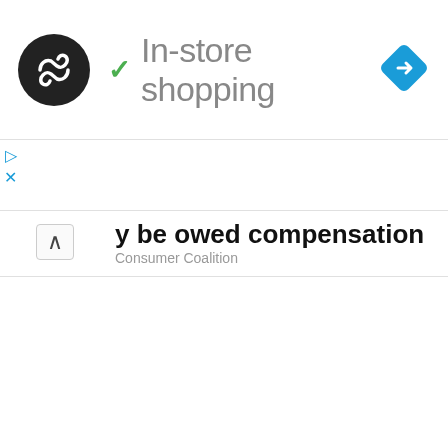[Figure (screenshot): Ad bar with circular logo (dark background with infinity/loop arrows icon), green checkmark, 'In-store shopping' text in grey, and blue diamond navigation icon on the right]
✓ In-store shopping
y be owed compensation
Consumer Coalition